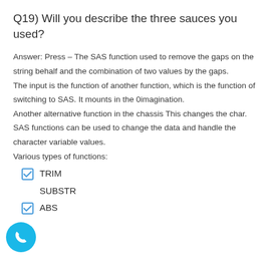Q19) Will you describe the three sauces you used?
Answer: Press – The SAS function used to remove the gaps on the string behalf and the combination of two values by the gaps.
The input is the function of another function, which is the function of switching to SAS. It mounts in the 0imagination.
Another alternative function in the chassis This changes the char.
SAS functions can be used to change the data and handle the character variable values.
Various types of functions:
TRIM
SUBSTR
ABS